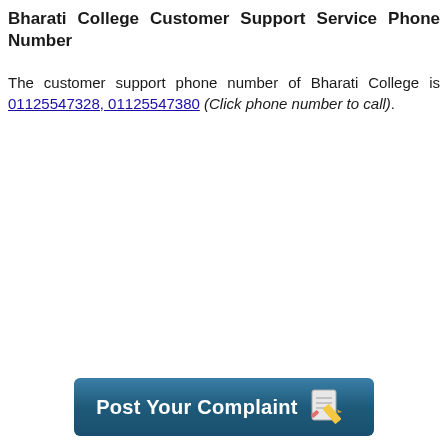Bharati College Customer Support Service Phone Number
The customer support phone number of Bharati College is 01125547328, 01125547380 (Click phone number to call).
[Figure (other): Button labeled 'Post Your Complaint' with a notepad and pencil icon, styled with a dark teal gradient background and white text.]